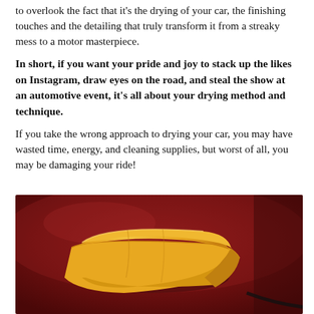to overlook the fact that it's the drying of your car, the finishing touches and the detailing that truly transform it from a streaky mess to a motor masterpiece.
In short, if you want your pride and joy to stack up the likes on Instagram, draw eyes on the road, and steal the show at an automotive event, it's all about your drying method and technique.
If you take the wrong approach to drying your car, you may have wasted time, energy, and cleaning supplies, but worst of all, you may be damaging your ride!
[Figure (photo): A folded orange/yellow chamois or microfiber drying cloth resting on the hood of a dark red car]